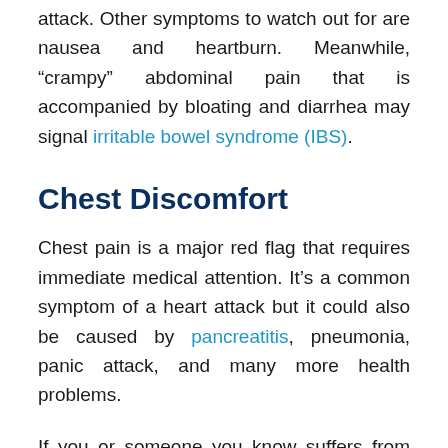attack. Other symptoms to watch out for are nausea and heartburn. Meanwhile, “crampy” abdominal pain that is accompanied by bloating and diarrhea may signal irritable bowel syndrome (IBS).
Chest Discomfort
Chest pain is a major red flag that requires immediate medical attention. It’s a common symptom of a heart attack but it could also be caused by pancreatitis, pneumonia, panic attack, and many more health problems.
If you or someone you know suffers from chest pain along with someone else comes from